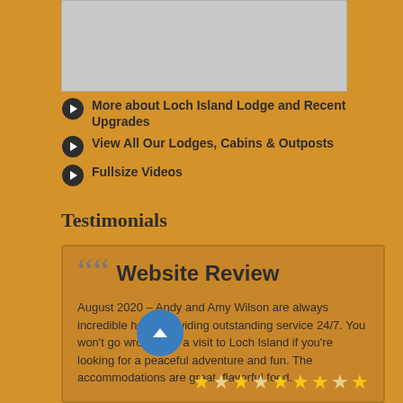[Figure (photo): Gray placeholder image at top of page]
More about Loch Island Lodge and Recent Upgrades
View All Our Lodges, Cabins & Outposts
Fullsize Videos
Testimonials
Website Review
August 2020 – Andy and Amy Wilson are always incredible hosts providing outstanding service 24/7. You won't go wrong with a visit to Loch Island if you're looking for a peaceful adventure and fun. The accommodations are great, flavorful food...